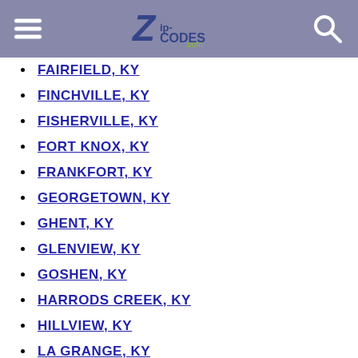Zip-Codes.com
FAIRFIELD, KY
FINCHVILLE, KY
FISHERVILLE, KY
FORT KNOX, KY
FRANKFORT, KY
GEORGETOWN, KY
GHENT, KY
GLENVIEW, KY
GOSHEN, KY
HARRODS CREEK, KY
HILLVIEW, KY
LA GRANGE, KY
LAWRENCEBURG, KY